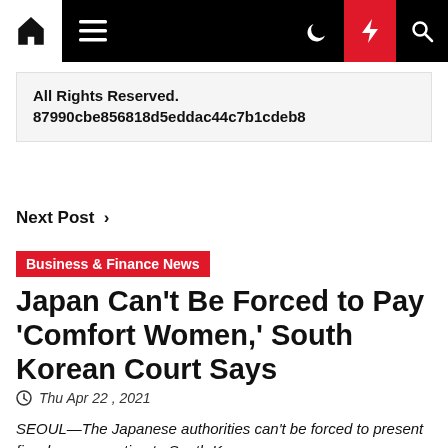Navigation bar with home, menu, moon, lightning, and search icons
All Rights Reserved.
87990cbe856818d5eddac44c7b1cdeb8
Next Post >
Business & Finance News
Japan Can't Be Forced to Pay 'Comfort Women,' South Korean Court Says
Thu Apr 22, 2021
SEOUL—The Japanese authorities can't be forced to present fiscal compensation to South Korean